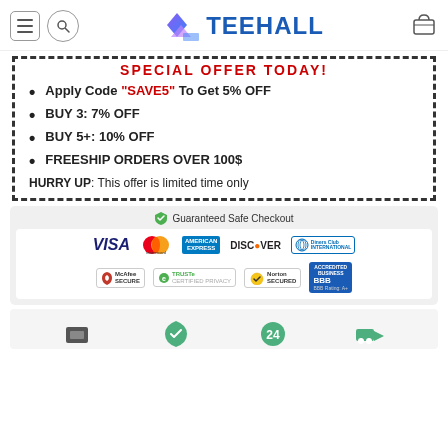TEEHALL
SPECIAL OFFER TODAY!
Apply Code "SAVE5" To Get 5% OFF
BUY 3: 7% OFF
BUY 5+: 10% OFF
FREESHIP ORDERS OVER 100$
HURRY UP: This offer is limited time only
[Figure (logo): Guaranteed Safe Checkout section with payment logos: VISA, Mastercard, American Express, Discover, Diners Club International, McAfee Secure, TRUSTe, Norton Secured, BBB Accredited Business]
[Figure (infographic): Bottom icons row: wallet, shield/hand, clock, truck delivery icons]